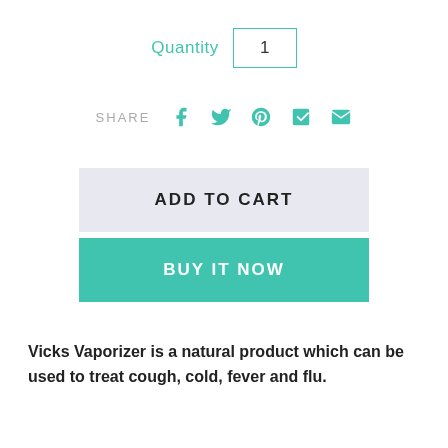Quantity  1
SHARE
ADD TO CART
BUY IT NOW
Vicks Vaporizer is a natural product which can be used to treat cough, cold, fever and flu.